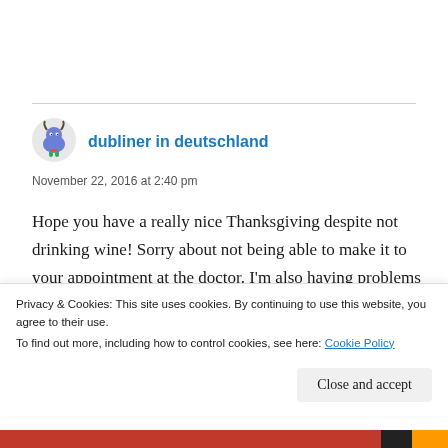[Figure (illustration): Small avatar icon of a cartoon animal/buffalo with colorful details]
dubliner in deutschland
November 22, 2016 at 2:40 pm
Hope you have a really nice Thanksgiving despite not drinking wine! Sorry about not being able to make it to your appointment at the doctor. I'm also having problems with having a doctor that's really awkward to get to! Hope you will
Privacy & Cookies: This site uses cookies. By continuing to use this website, you agree to their use.
To find out more, including how to control cookies, see here: Cookie Policy
Close and accept